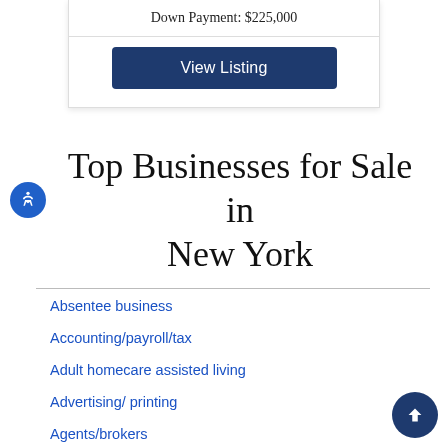| Down Payment: $225,000 |
| View Listing |
Top Businesses for Sale in New York
Absentee business
Accounting/payroll/tax
Adult homecare assisted living
Advertising/ printing
Agents/brokers